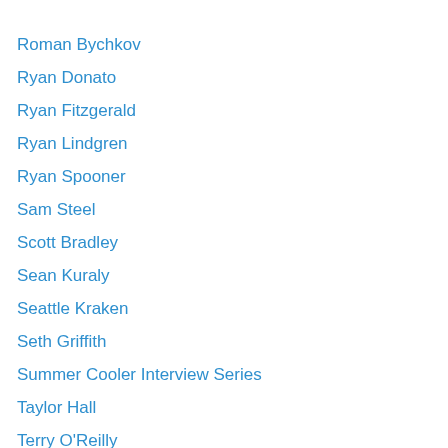Roman Bychkov
Ryan Donato
Ryan Fitzgerald
Ryan Lindgren
Ryan Spooner
Sam Steel
Scott Bradley
Sean Kuraly
Seattle Kraken
Seth Griffith
Summer Cooler Interview Series
Taylor Hall
Terry O'Reilly
Tim Gettinger
Tim Schaller
Tim Thomas
Torey Krug
Trent Frederic
Trevor Kuntar